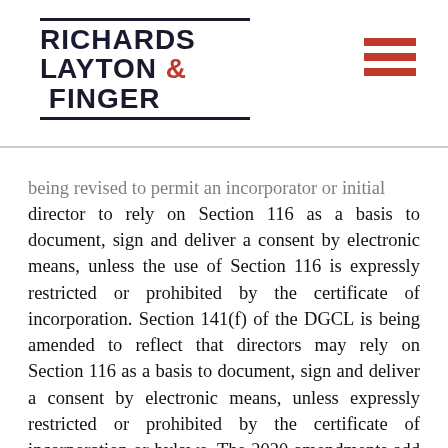Richards Layton & Finger
being revised to permit an incorporator or initial director to rely on Section 116 as a basis to document, sign and deliver a consent by electronic means, unless the use of Section 116 is expressly restricted or prohibited by the certificate of incorporation. Section 141(f) of the DGCL is being amended to reflect that directors may rely on Section 116 as a basis to document, sign and deliver a consent by electronic means, unless expressly restricted or prohibited by the certificate of incorporation or bylaws. The 2020 amendments add a new subsection (c) to Section 212, which deals with proxies, to clarify that a stockholder may rely on Section 116 as a basis to document a proxy and to sign and deliver a document evidencing the proxy, unless restricted or prohibited by the certificate of incorporation or bylaws. Finally, Section 228 of the DGCL, which governs stockholder action by consent in lieu of a meeting, is being revised in several